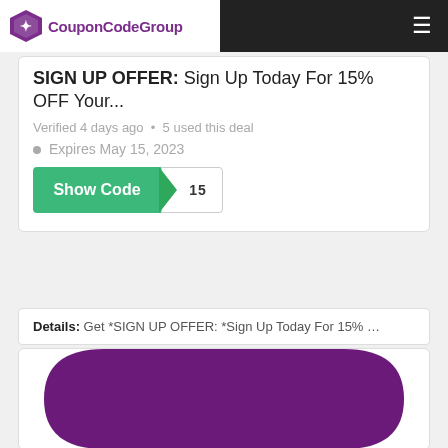[Figure (logo): CouponCodeGroup logo with purple star ticket icon and purple text]
SIGN UP OFFER: Sign Up Today For 15% OFF Your...
Verified 4 days ago  • 5 used this deal
Expires May 15, 2023
[Figure (other): Show Code button in green with arrow and code box showing '15']
Details: Get *SIGN UP OFFER: *Sign Up Today For 15% ...
[Figure (other): Purple rounded hexagon/shield shape on white card background]